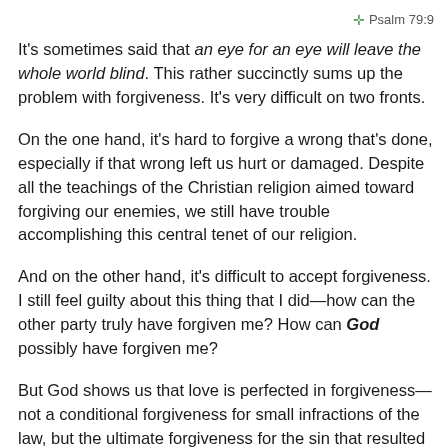+ Psalm 79:9
It's sometimes said that an eye for an eye will leave the whole world blind. This rather succinctly sums up the problem with forgiveness. It's very difficult on two fronts.
On the one hand, it's hard to forgive a wrong that's done, especially if that wrong left us hurt or damaged. Despite all the teachings of the Christian religion aimed toward forgiving our enemies, we still have trouble accomplishing this central tenet of our religion.
And on the other hand, it's difficult to accept forgiveness. I still feel guilty about this thing that I did—how can the other party truly have forgiven me? How can God possibly have forgiven me?
But God shows us that love is perfected in forgiveness—not a conditional forgiveness for small infractions of the law, but the ultimate forgiveness for the sin that resulted in his Son's death. It's only in understanding and accepting the unlimited reach of God's love and forgiveness that we can come to